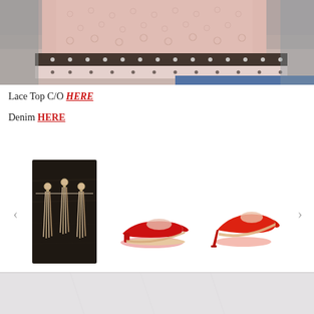[Figure (photo): Close-up photo of woman wearing a pink lace top, showing the floral lace fabric with dark border detail at hem, and denim jeans visible at bottom]
Lace Top C/O HERE
Denim HERE
[Figure (photo): Three tassel/fringe earrings displayed against a dark wood background]
[Figure (photo): Red suede pointed-toe low heel pump shoe, side profile view]
[Figure (photo): Red/orange suede pointed-toe high heel pump shoe, side profile view]
[Figure (photo): Bottom portion of page showing light gray/white surface, partial view]